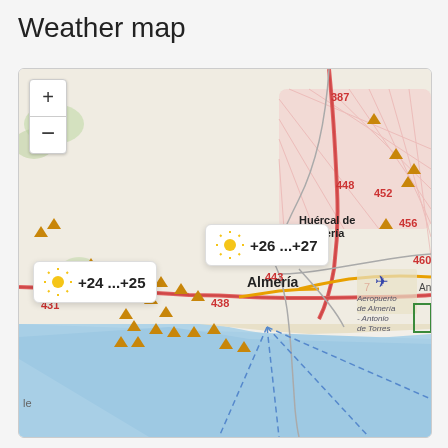Weather map
[Figure (map): OpenStreetMap tile showing Almeria, Spain and surroundings. Shows coastal area with Mediterranean Sea to the south, the city of Almeria center-right, Huercal de Almeria to the north, road numbers 387, 448, 452, 456, 460, 446, 443, 438, 431, 7. Aeropuerto de Almeria - Antonio de Torres labeled with airplane icon east of city. Map includes orange triangle elevation markers scattered over terrain, pink-hatched region in northeast, blue dashed lines over sea. Two weather overlay popups show sunny weather: '+24 ...+25' on west side and '+26 ...+27' near Almeria center. Zoom +/- controls in top-left corner.]